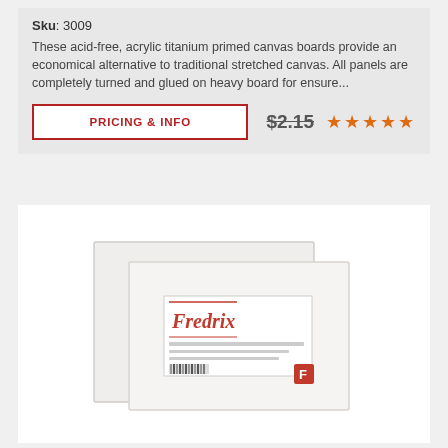Sku: 3009
These acid-free, acrylic titanium primed canvas boards provide an economical alternative to traditional stretched canvas. All panels are completely turned and glued on heavy board for ensure...
PRICING & INFO
$2.15
[Figure (photo): Two white canvas boards with a product label, one placed in front of the other slightly offset, showing a Fredrix brand label on the front board.]